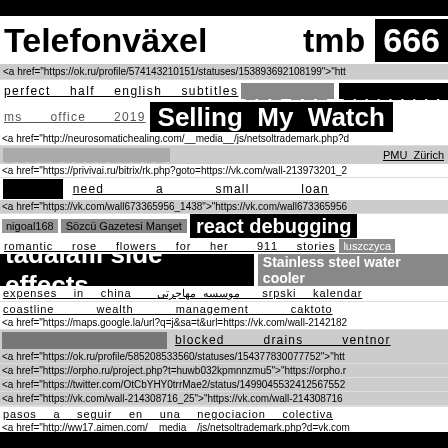[black bar top]
Telefonväxel   tmb   666
<a href="https://ok.ru/profile/574143210151/statuses/153893692108199">"htt
perfect  half  english  subtitles  [blocks]  [blocks]  [blocks]
ms   office   2019   Selling   My   Watch
<a href="http://neurosomatichealing.com/__media__/js/netsoltrademark.php?d
[blocks]   PMU  Zürich
<a href="https://privivai.ru/bitrix/rk.php?goto=https://vk.com/wall-213973201_2
[blocks]   need   a   small   loan
<a href="https://vk.com/wall673365956_1438">"https://vk.com/wall673365956
nigoal168  Sözcü Gazetesi Manşet  react debugging
romantic  rose  flowers  for  her   911  stories  luszczyca
tadalafil side effects   Stainless steel water cooler
expenses  in  china  موسسه مهاجرتی  srpski  kalendar
coastline   wealth   management   caktoto
<a href="https://maps.google.la/url?q=j&sa=t&url=https://vk.com/wall-2142182
[blocks]   blocked   drains   ventnor
<a href="https://ok.ru/profile/585208533560/statuses/154377830077752">"htt
<a href="https://orpho.ru/project.php?t=huwb032kpmnnzmu5">"https://orpho.r
<a href="https://twitter.com/OtCbYHY0trrMae2/status/1499045532412567552
<a href="https://vk.com/wall-214308716_25">"https://vk.com/wall-214308716
pasos  a  seguir  en  una  negociacion  colectiva
<a href="http://ww17.aimen.com/__media__/js/netsoltrademark.php?d=vk.com
car  rental  with  driver   quick  easy  fast  loans
<a href="https://devil-team.exprimetoi.net/bw?dest=https%3A%2F%2Fvk.com
[black bar bottom]